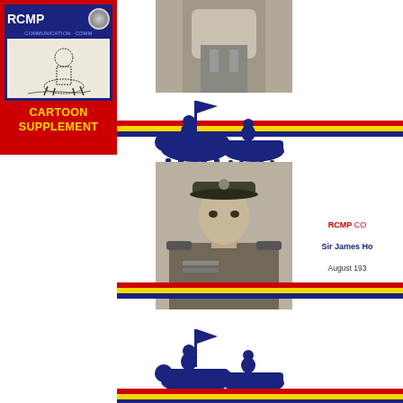[Figure (illustration): RCMP Cartoon Supplement badge/cover with red border, blue background, RCMP logo text, cartoon illustration of Mountie, and yellow text reading CARTOON SUPPLEMENT]
[Figure (photo): Black and white photograph of an RCMP officer in uniform, upper body, top center of page]
[Figure (illustration): Dark blue silhouette of RCMP cavalry officers on horseback with flag, with red/yellow/blue horizontal stripes beneath]
[Figure (photo): Black and white portrait photograph of RCMP officer in dress uniform with peaked cap]
RCMP CO
Sir James Ho
August 193
[Figure (illustration): Dark blue silhouette of RCMP cavalry officers on horseback with flag, with red/yellow/blue horizontal stripes beneath, bottom of page]